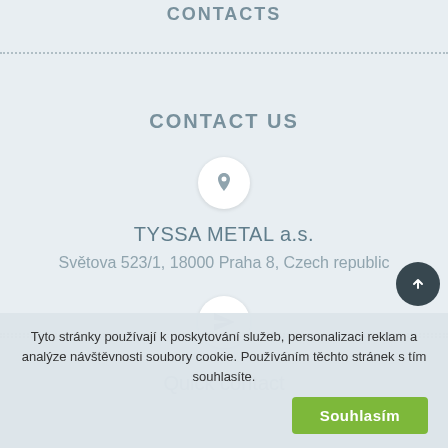CONTACTS
CONTACT US
[Figure (illustration): Location pin icon in a white circle]
TYSSA METAL a.s.
Světova 523/1, 18000 Praha 8, Czech republic
[Figure (illustration): Paper plane / send icon in a white circle]
Quick contact
Tyto stránky používají k poskytování služeb, personalizaci reklam a analýze návštěvnosti soubory cookie. Používáním těchto stránek s tím souhlasíte.
Souhlasím